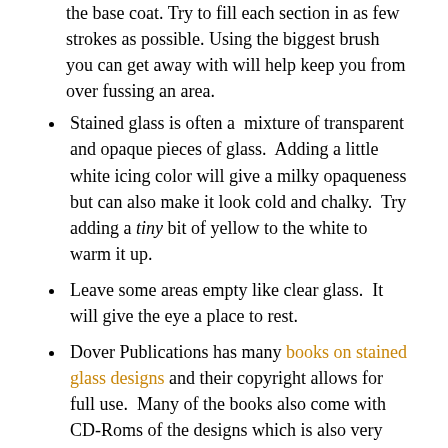the base coat. Try to fill each section in as few strokes as possible. Using the biggest brush you can get away with will help keep you from over fussing an area.
Stained glass is often a mixture of transparent and opaque pieces of glass. Adding a little white icing color will give a milky opaqueness but can also make it look cold and chalky. Try adding a tiny bit of yellow to the white to warm it up.
Leave some areas empty like clear glass. It will give the eye a place to rest.
Dover Publications has many books on stained glass designs and their copyright allows for full use. Many of the books also come with CD-Roms of the designs which is also very helpful.
I would love some feedback on this project, especially if you try the transfer technique. I was wondering if food color markers would work as well, but I don't have any to